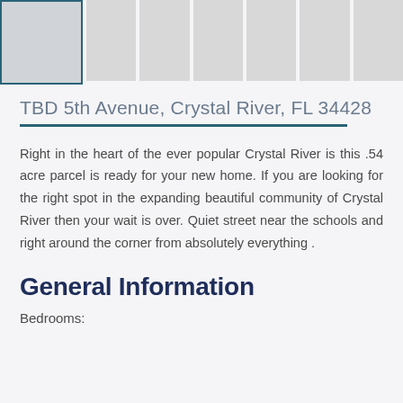[Figure (photo): Image thumbnail strip with 7 property photo placeholders, first thumbnail highlighted with teal border]
TBD 5th Avenue, Crystal River, FL 34428
Right in the heart of the ever popular Crystal River is this .54 acre parcel is ready for your new home. If you are looking for the right spot in the expanding beautiful community of Crystal River then your wait is over. Quiet street near the schools and right around the corner from absolutely everything .
General Information
Bedrooms: